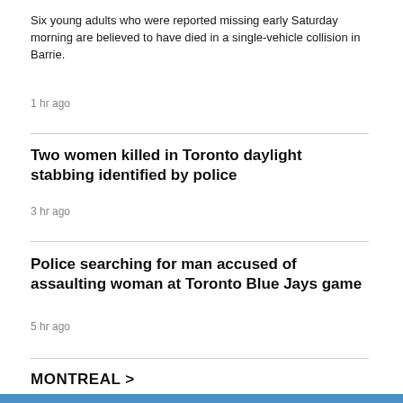Six young adults who were reported missing early Saturday morning are believed to have died in a single-vehicle collision in Barrie.
1 hr ago
Two women killed in Toronto daylight stabbing identified by police
3 hr ago
Police searching for man accused of assaulting woman at Toronto Blue Jays game
5 hr ago
MONTREAL >